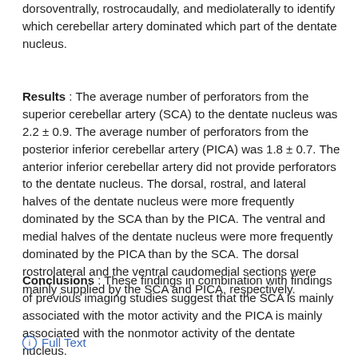dorsoventrally, rostrocaudally, and mediolaterally to identify which cerebellar artery dominated which part of the dentate nucleus.
Results : The average number of perforators from the superior cerebellar artery (SCA) to the dentate nucleus was 2.2 ± 0.9. The average number of perforators from the posterior inferior cerebellar artery (PICA) was 1.8 ± 0.7. The anterior inferior cerebellar artery did not provide perforators to the dentate nucleus. The dorsal, rostral, and lateral halves of the dentate nucleus were more frequently dominated by the SCA than by the PICA. The ventral and medial halves of the dentate nucleus were more frequently dominated by the PICA than by the SCA. The dorsal rostrolateral and the ventral caudomedial sections were mainly supplied by the SCA and PICA, respectively.
Conclusions : These findings in combination with findings of previous imaging studies suggest that the SCA is mainly associated with the motor activity and the PICA is mainly associated with the nonmotor activity of the dentate nucleus.
Full Text